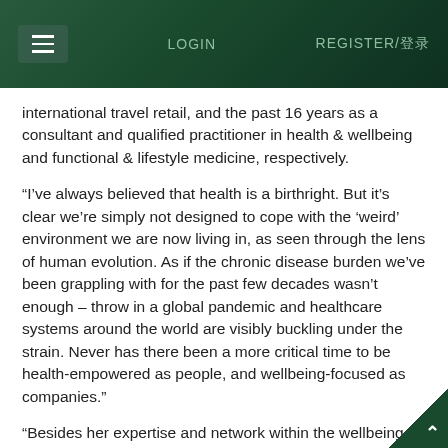LOGIN    REGISTER/登录
international travel retail, and the past 16 years as a consultant and qualified practitioner in health & wellbeing and functional & lifestyle medicine, respectively.
“I’ve always believed that health is a birthright. But it’s clear we’re simply not designed to cope with the ‘weird’ environment we are now living in, as seen through the lens of human evolution. As if the chronic disease burden we’ve been grappling with for the past few decades wasn’t enough – throw in a global pandemic and healthcare systems around the world are visibly buckling under the strain. Never has there been a more critical time to be health-empowered as people, and wellbeing-focused as companies.”
“Besides her expertise and network within the wellbeing space, Adele is a dynamic individual with a tremendous ability to identify and realise new business opportunities,”